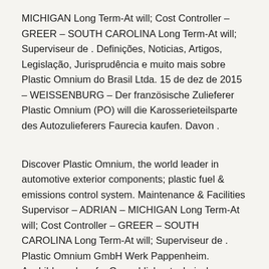MICHIGAN Long Term-At will; Cost Controller – GREER – SOUTH CAROLINA Long Term-At will; Superviseur de . Definições, Noticias, Artigos, Legislação, Jurisprudência e muito mais sobre Plastic Omnium do Brasil Ltda. 15 de dez de 2015 – WEISSENBURG – Der französische Zulieferer Plastic Omnium (PO) will die Karosserieteilsparte des Autozulieferers Faurecia kaufen. Davon .
Discover Plastic Omnium, the world leader in automotive exterior components; plastic fuel & emissions control system. Maintenance & Facilities Supervisor – ADRIAN – MICHIGAN Long Term-At will; Cost Controller – GREER – SOUTH CAROLINA Long Term-At will; Superviseur de . Plastic Omnium GmbH Werk Pappenheim. Ausbildungsberufe, Gewerbliche, technische